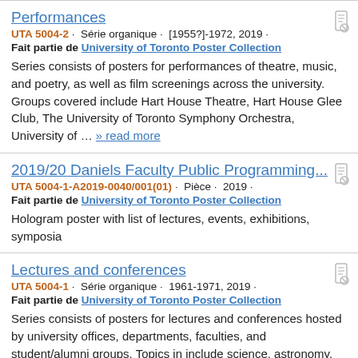Performances
UTA 5004-2 · Série organique · [1955?]-1972, 2019 ·
Fait partie de University of Toronto Poster Collection
Series consists of posters for performances of theatre, music, and poetry, as well as film screenings across the university. Groups covered include Hart House Theatre, Hart House Glee Club, The University of Toronto Symphony Orchestra, University of … » read more
2019/20 Daniels Faculty Public Programming...
UTA 5004-1-A2019-0040/001(01) · Pièce · 2019 ·
Fait partie de University of Toronto Poster Collection
Hologram poster with list of lectures, events, exhibitions, symposia
Lectures and conferences
UTA 5004-1 · Série organique · 1961-1971, 2019 ·
Fait partie de University of Toronto Poster Collection
Series consists of posters for lectures and conferences hosted by university offices, departments, faculties, and student/alumni groups. Topics in include science, astronomy, politics, archaeology, medicine, literature